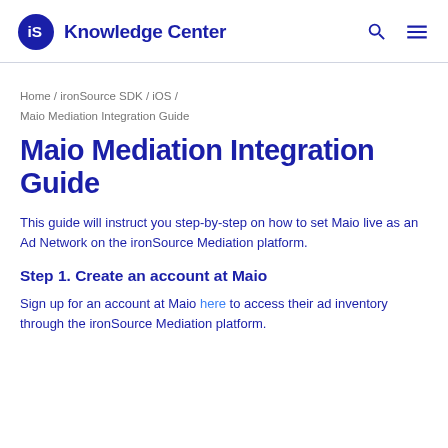iS Knowledge Center
Home / ironSource SDK / iOS / Maio Mediation Integration Guide
Maio Mediation Integration Guide
This guide will instruct you step-by-step on how to set Maio live as an Ad Network on the ironSource Mediation platform.
Step 1.  Create an account at Maio
Sign up for an account at Maio here to access their ad inventory through the ironSource Mediation platform.